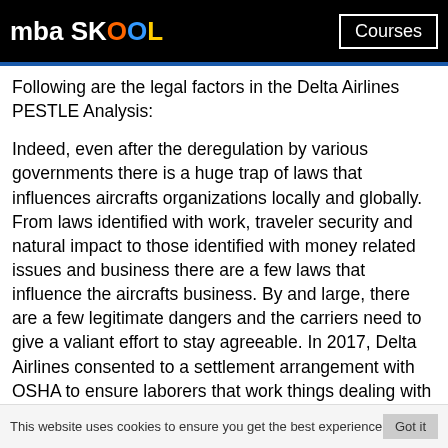mba SKOOL | Courses
Following are the legal factors in the Delta Airlines PESTLE Analysis:
Indeed, even after the deregulation by various governments there is a huge trap of laws that influences aircrafts organizations locally and globally. From laws identified with work, traveler security and natural impact to those identified with money related issues and business there are a few laws that influence the aircrafts business. By and large, there are a few legitimate dangers and the carriers need to give a valiant effort to stay agreeable. In 2017, Delta Airlines consented to a settlement arrangement with OSHA to ensure laborers that work things dealing with vehicles. These settlement understandings are viewed as profoundly powerful apparatuses used to guarantee that the organizations
This website uses cookies to ensure you get the best experience   Got it